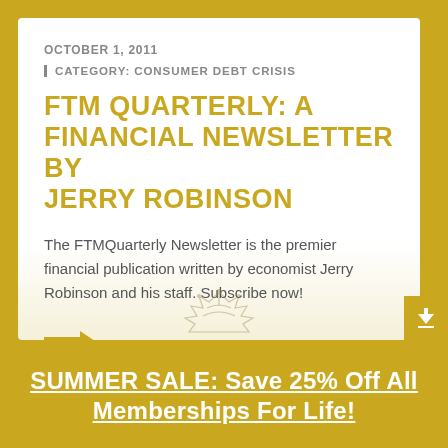OCTOBER 1, 2011
| CATEGORY: CONSUMER DEBT CRISIS
FTM QUARTERLY: A FINANCIAL NEWSLETTER BY JERRY ROBINSON
The FTMQuarterly Newsletter is the premier financial publication written by economist Jerry Robinson and his staff. Subscribe now!
SUMMER SALE: Save 25% Off All Memberships For Life!